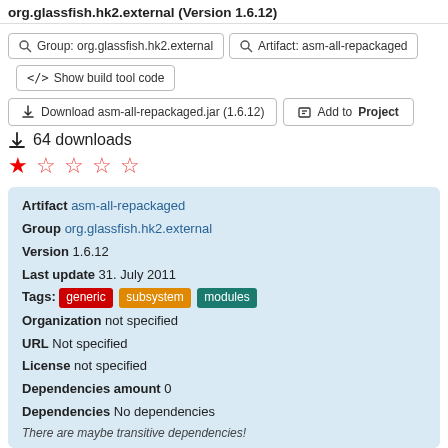org.glassfish.hk2.external (Version 1.6.12)
Group: org.glassfish.hk2.external
Artifact: asm-all-repackaged
</> Show build tool code
Download asm-all-repackaged.jar (1.6.12)
Add to Project
64 downloads
★ ☆ ☆ ☆ ☆
| Artifact | asm-all-repackaged |
| Group | org.glassfish.hk2.external |
| Version | 1.6.12 |
| Last update | 31. July 2011 |
| Tags: | generic  subsystem  modules |
| Organization | not specified |
| URL | Not specified |
| License | not specified |
| Dependencies amount | 0 |
| Dependencies | No dependencies |
There are maybe transitive dependencies!